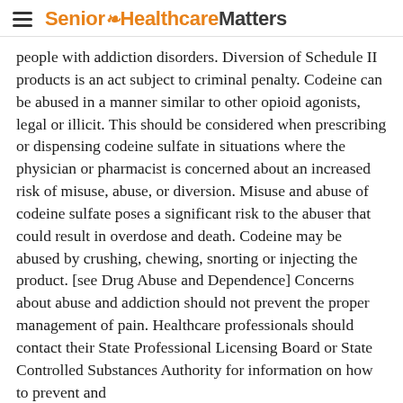Senior Healthcare Matters
people with addiction disorders. Diversion of Schedule II products is an act subject to criminal penalty. Codeine can be abused in a manner similar to other opioid agonists, legal or illicit. This should be considered when prescribing or dispensing codeine sulfate in situations where the physician or pharmacist is concerned about an increased risk of misuse, abuse, or diversion. Misuse and abuse of codeine sulfate poses a significant risk to the abuser that could result in overdose and death. Codeine may be abused by crushing, chewing, snorting or injecting the product. [see Drug Abuse and Dependence] Concerns about abuse and addiction should not prevent the proper management of pain. Healthcare professionals should contact their State Professional Licensing Board or State Controlled Substances Authority for information on how to prevent and